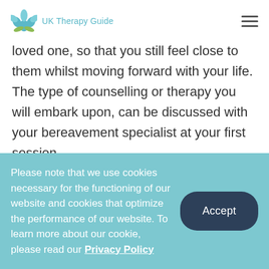UK Therapy Guide
loved one, so that you still feel close to them whilst moving forward with your life. The type of counselling or therapy you will embark upon, can be discussed with your bereavement specialist at your first session.
[Figure (photo): Broken image placeholder icon]
Please note that we use cookies necessary for the functioning of our website and cookies that optimize the performance of our website. To learn more about our cookie, please read our Privacy Policy